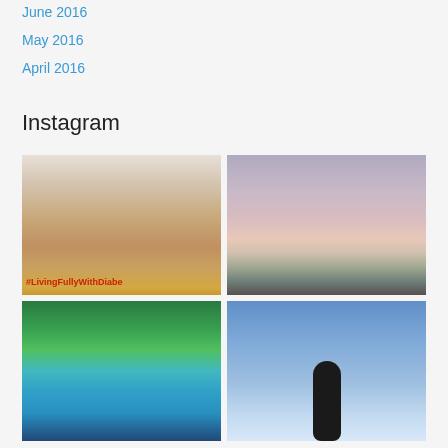June 2016
May 2016
April 2016
Instagram
[Figure (photo): Woman in yellow top with text #LivingFullyWithDiabe overlaid at bottom]
[Figure (photo): Sunset sky with palm tree silhouette at bottom]
[Figure (photo): Swimming pool with green foliage and person visible]
[Figure (photo): Blue sky with dark surfboard or similar object silhouette]